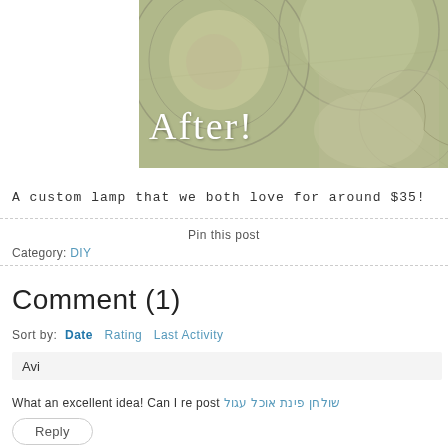[Figure (photo): Photo of decorative plates or lamp shades with a circular pattern, overlaid with the word 'After!' in white text]
A custom lamp that we both love for around $35!
Pin this post
Category: DIY
Comment (1)
Sort by: Date   Rating   Last Activity
Avi
What an excellent idea! Can I re post שולחן פינת אוכל עגול